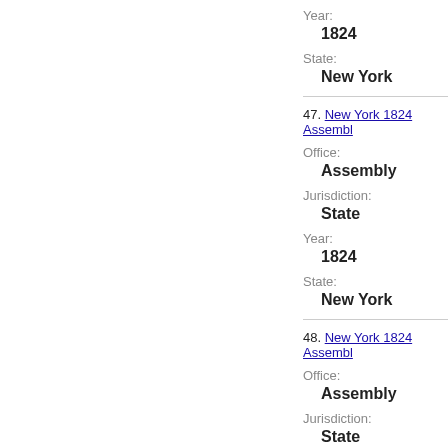Year:
1824
State:
New York
47. New York 1824 Assembl…
Office:
Assembly
Jurisdiction:
State
Year:
1824
State:
New York
48. New York 1824 Assembl…
Office:
Assembly
Jurisdiction:
State